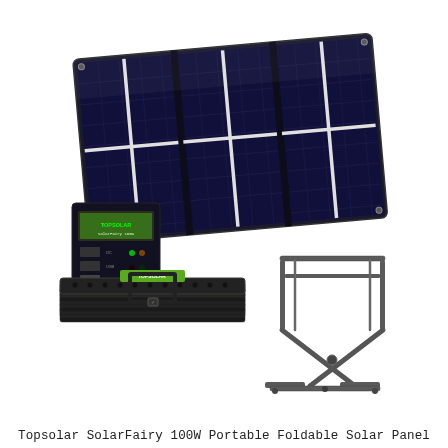[Figure (photo): Product photo of Topsolar SolarFairy 100W Portable Foldable Solar Panel showing: (top) unfolded solar panel with dark blue monocrystalline cells and white cross-shaped tie-down straps, (bottom-left) folded panel in compact briefcase form with green label and carry strap, (bottom-right) metal adjustable stand/kickstand accessory.]
Topsolar SolarFairy 100W Portable Foldable Solar Panel